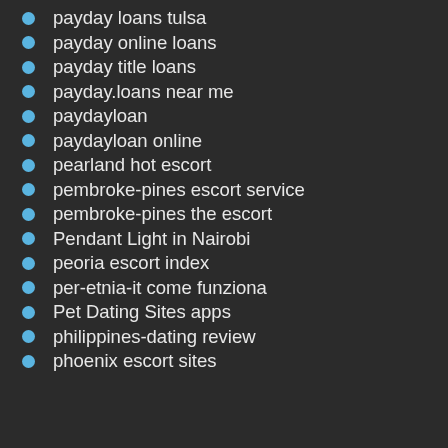payday loans tulsa
payday online loans
payday title loans
payday.loans near me
paydayloan
paydayloan online
pearland hot escort
pembroke-pines escort service
pembroke-pines the escort
Pendant Light in Nairobi
peoria escort index
per-etnia-it come funziona
Pet Dating Sites apps
philippines-dating review
phoenix escort sites